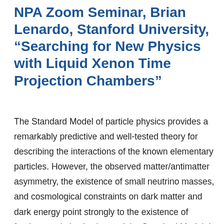NPA Zoom Seminar, Brian Lenardo, Stanford University, “Searching for New Physics with Liquid Xenon Time Projection Chambers”
The Standard Model of particle physics provides a remarkably predictive and well-tested theory for describing the interactions of the known elementary particles. However, the observed matter/antimatter asymmetry, the existence of small neutrino masses, and cosmological constraints on dark matter and dark energy point strongly to the existence of fundamental physics beyond the Standard Model. In the past few decades, ultra-low-background liquid xenon time projection chambers (TPCs) have emerged as a powerful experimental technique in the search for low energy signatures of new physics.